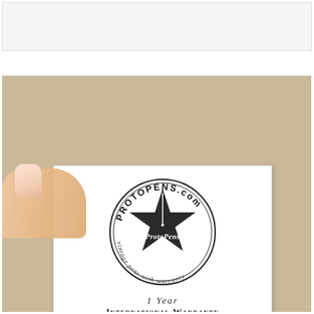[Figure (photo): White rectangular area at top of page, likely cropped product image placeholder]
[Figure (photo): Hand holding a warranty card for ProtoPens.com showing a star logo stamp with text 'PROTOPENS.com', 'vintage pens with warranty', and '1 YEAR International Warranty', set against a wood-grain background]